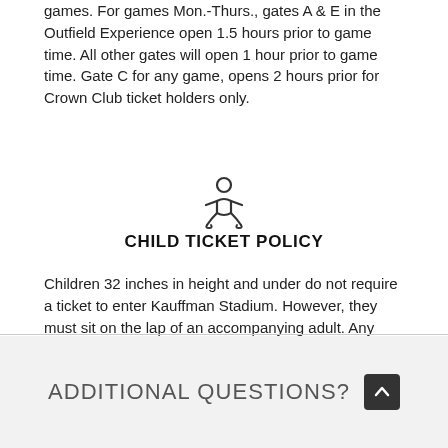games. For games Mon.-Thurs., gates A & E in the Outfield Experience open 1.5 hours prior to game time. All other gates will open 1 hour prior to game time. Gate C for any game, opens 2 hours prior for Crown Club ticket holders only.
[Figure (illustration): Baby/child icon — a simple line-drawn figure of an infant]
CHILD TICKET POLICY
Children 32 inches in height and under do not require a ticket to enter Kauffman Stadium. However, they must sit on the lap of an accompanying adult. Any child taller will need a ticket even in a Royals suite. Fold-up strollers must be stored under your seat or may be checked into Guest Services.
ADDITIONAL QUESTIONS?